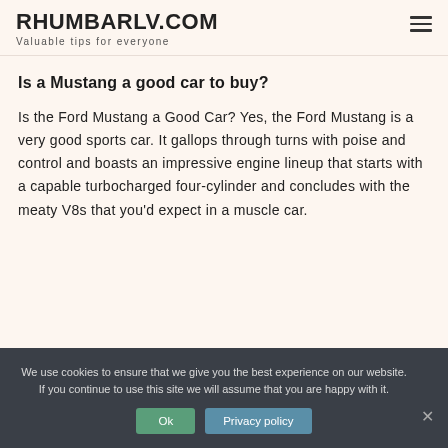RHUMBARLV.COM
Valuable tips for everyone
Is a Mustang a good car to buy?
Is the Ford Mustang a Good Car? Yes, the Ford Mustang is a very good sports car. It gallops through turns with poise and control and boasts an impressive engine lineup that starts with a capable turbocharged four-cylinder and concludes with the meaty V8s that you'd expect in a muscle car.
We use cookies to ensure that we give you the best experience on our website. If you continue to use this site we will assume that you are happy with it.